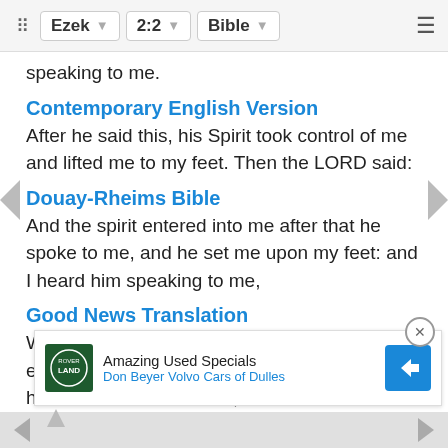Ezek  2:2  Bible
speaking to me.
Contemporary English Version
After he said this, his Spirit took control of me and lifted me to my feet. Then the LORD said:
Douay-Rheims Bible
And the spirit entered into me after that he spoke to me, and he set me upon my feet: and I heard him speaking to me,
Good News Translation
While the voice was speaking, God's spirit entered me and raised me to my feet, and I heard the voice continue,
International Standard Version
Even [partial, obscured by ad] entered [partial] to the